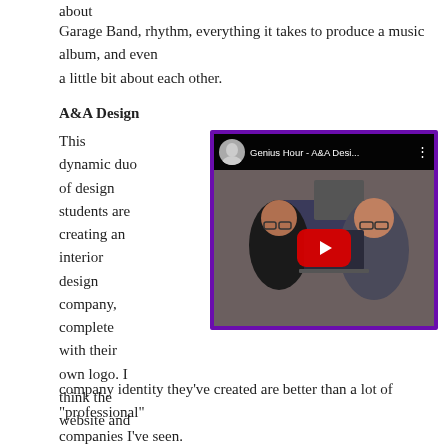about
Garage Band, rhythm, everything it takes to produce a music album, and even a little bit about each other.
A&A Design
This dynamic duo of design students are creating an interior design company, complete with their own logo. I think the website and company identity they've created are better than a lot of "professional" companies I've seen.
[Figure (screenshot): YouTube video thumbnail showing two female students sitting at a desk with computers, titled 'Genius Hour - A&A Desi...' with a play button overlay and a small avatar in the top bar.]